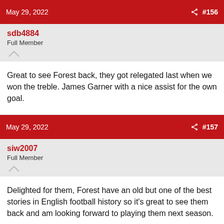May 29, 2022  #156
sdb4884
Full Member
Great to see Forest back, they got relegated last when we won the treble. James Garner with a nice assist for the own goal.
May 29, 2022  #157
siw2007
Full Member
Delighted for them, Forest have an old but one of the best stories in English football history so it's great to see them back and am looking forward to playing them next season.